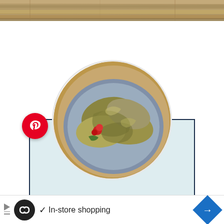[Figure (photo): Top strip of a photo showing a wooden floor or table surface]
[Figure (photo): Circular food photo showing charred/cooked food (possibly dumplings or stuffed pastry) on a plate with a wooden board, in a circular crop]
CHARRED
[Figure (logo): Pinterest circular red logo button with white P icon]
In-store shopping
[Figure (other): Ad banner with Loops icon, checkmark, In-store shopping text, and blue diamond navigation arrow]